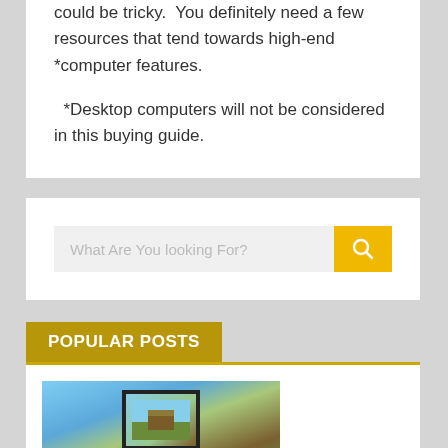could be tricky.  You definitely need a few resources that tend towards high-end *computer features.
  *Desktop computers will not be considered in this buying guide.
[Figure (screenshot): Search bar widget with text placeholder 'What Are You looking For?' and a yellow search button with magnifying glass icon]
POPULAR POSTS
[Figure (photo): Photo showing a monitor/laptop screen displaying a house image against a blue sky background]